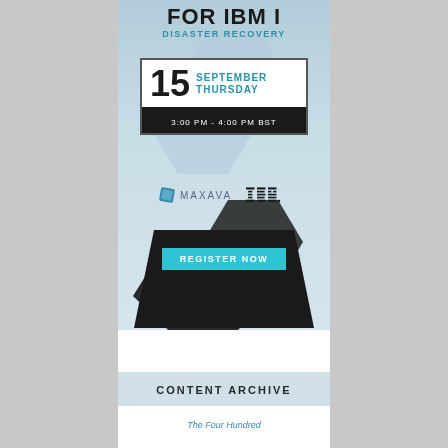[Figure (infographic): Event advertisement for IBM i Disaster Recovery webinar. Shows 'FOR IBM I DISASTER RECOVERY' title, date box with '15 SEPTEMBER THURSDAY', time '3:00 PM - 4:00 PM BST', Maxava and IBM logos, and a 'REGISTER NOW' button on a dark trapezoid shape. Light blue-gray background with hexagonal decorative shapes.]
CONTENT ARCHIVE
The Four Hundred